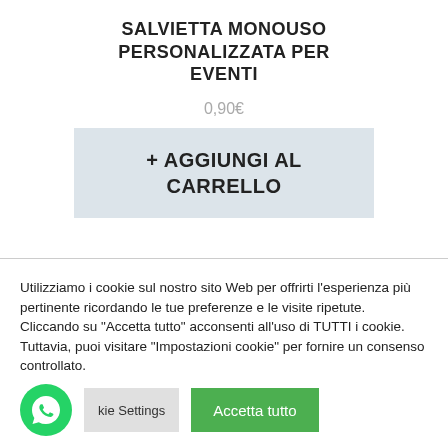SALVIETTA MONOUSO PERSONALIZZATA PER EVENTI
0,90€
+ AGGIUNGI AL CARRELLO
Utilizziamo i cookie sul nostro sito Web per offrirti l'esperienza più pertinente ricordando le tue preferenze e le visite ripetute. Cliccando su "Accetta tutto" acconsenti all'uso di TUTTI i cookie. Tuttavia, puoi visitare "Impostazioni cookie" per fornire un consenso controllato.
Cookie Settings
Accetta tutto